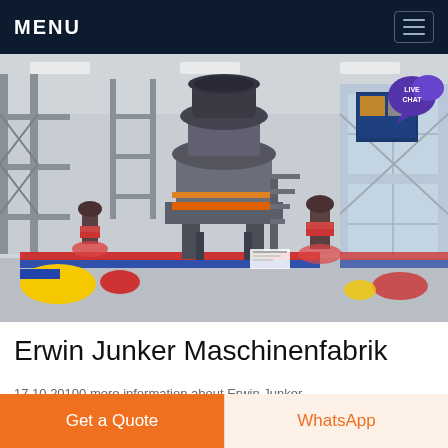MENU
[Figure (photo): Industrial manufacturing hall with a large cone crusher or similar heavy machinery in the center, elevated on metal legs, with scaffolding, colorful floor markings (red, blue, yellow), and bright industrial lighting. Other smaller machines visible in background.]
Erwin Junker Maschinenfabrik
17 10 20100 more information about Erwin Junker...
Get a Quote
WhatsApp